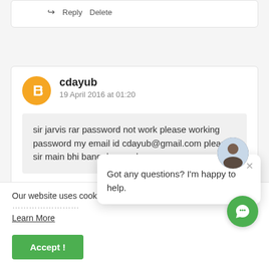↪ Reply   Delete
cdayub
19 April 2016 at 01:20
sir jarvis rar password not work please working password my email id cdayub@gmail.com please sir main bhi bangalore se hoon
↪ Reply   Delete
Got any questions? I'm happy to help.
Our website uses cookies ... to enhance your experience.
Learn More
Accept !